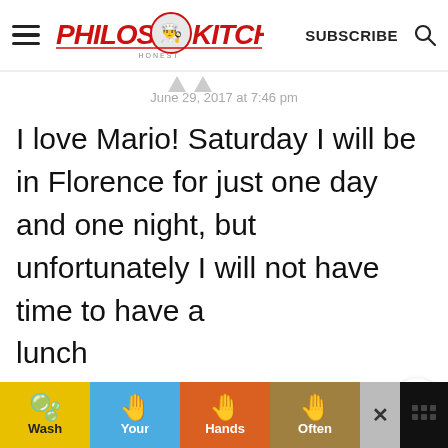PHILOS KITCHEN — SUBSCRIBE
June 29, 2017 at 7:46 pm
I love Mario! Saturday I will be in Florence for just one day and one night, but unfortunately I will not have time to have a lunch at Mario's place. Too b... it has been one of my
[Figure (infographic): Wash Your Hands Often public health ad banner at the bottom of the page with colorful tiles and hand-washing emoji icons]